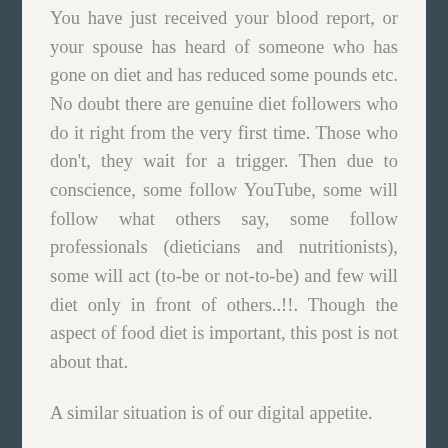You have just received your blood report, or your spouse has heard of someone who has gone on diet and has reduced some pounds etc. No doubt there are genuine diet followers who do it right from the very first time. Those who don't, they wait for a trigger. Then due to conscience, some follow YouTube, some will follow what others say, some follow professionals (dieticians and nutritionists), some will act (to-be or not-to-be) and few will diet only in front of others..!!. Though the aspect of food diet is important, this post is not about that.

A similar situation is of our digital appetite.